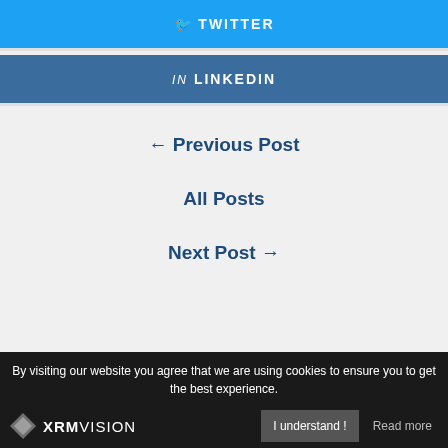✓ TWITTER
in LINKEDIN
← Previous Post
All Posts
Next Post →
By visiting our website you agree that we are using cookies to ensure you to get the best experience.
I understand !
Read more
[Figure (logo): XRM Vision logo with diamond icon]